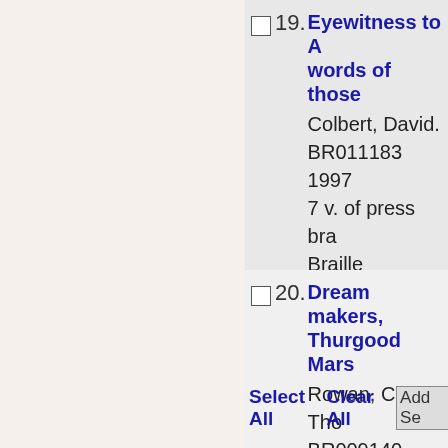19. Eyewitness to A... words of those...
Colbert, David.
BR011183
1997
7 v. of press bra...
Braille
20. Dream makers, Thurgood Mars...
Rowan, Carl Tho...
BR009140
1993
5 v. of press bra...
Braille
Select All  Clear All  Add Se...